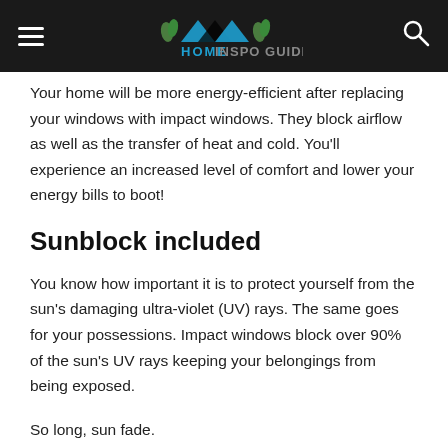HOME [logo]
Your home will be more energy-efficient after replacing your windows with impact windows. They block airflow as well as the transfer of heat and cold. You'll experience an increased level of comfort and lower your energy bills to boot!
Sunblock included
You know how important it is to protect yourself from the sun's damaging ultra-violet (UV) rays. The same goes for your possessions. Impact windows block over 90% of the sun's UV rays keeping your belongings from being exposed.
So long, sun fade.
Noisy neighbors?